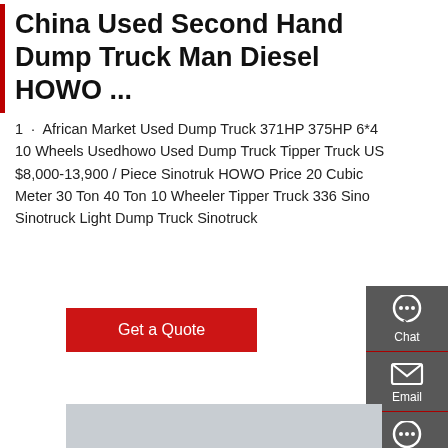China Used Second Hand Dump Truck Man Diesel HOWO ...
1 · African Market Used Dump Truck 371HP 375HP 6*4 10 Wheels Usedhowo Used Dump Truck Tipper Truck US $8,000-13,900 / Piece Sinotruk HOWO Price 20 Cubic Meter 30 Ton 40 Ton 10 Wheeler Tipper Truck 336 Sino Sinotruck Light Dump Truck Sinotruck
[Figure (screenshot): Red 'Get a Quote' button]
[Figure (photo): White HOWO dump truck cab parked at a facility with trees and covered structure in background, overcast sky]